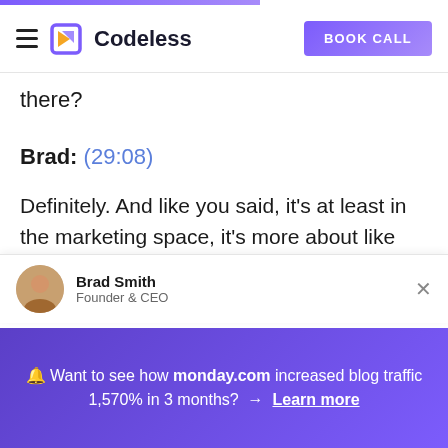Codeless | BOOK CALL
there?
Brad: (29:08)
Definitely. And like you said, it's at least in the marketing space, it's more about like communicating clearly as opposed to like being so clever with your phrasing.
Brad Smith
Founder & CEO
🔔 Want to see how monday.com increased blog traffic 1,570% in 3 months? → Learn more